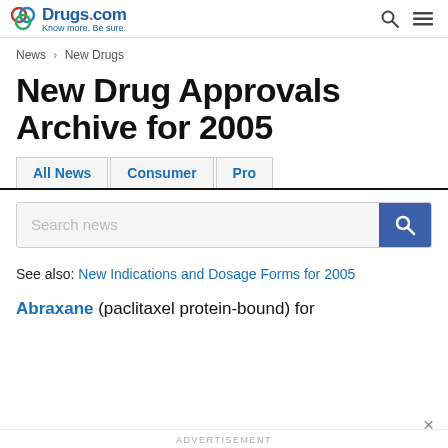Drugs.com — Know more. Be sure.
News > New Drugs
New Drug Approvals Archive for 2005
Tabs: All News | Consumer | Pro
Search news
See also: New Indications and Dosage Forms for 2005
Abraxane (paclitaxel protein-bound) for
ADVERTISEMENT